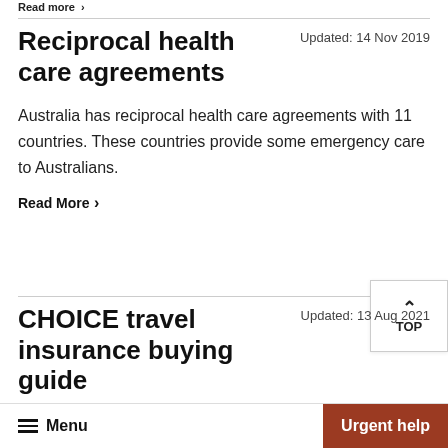Read more ›
Reciprocal health care agreements
Updated: 14 Nov 2019
Australia has reciprocal health care agreements with 11 countries. These countries provide some emergency care to Australians.
Read More ›
CHOICE travel insurance buying guide
Updated: 13 Aug 2021
Menu   Urgent help